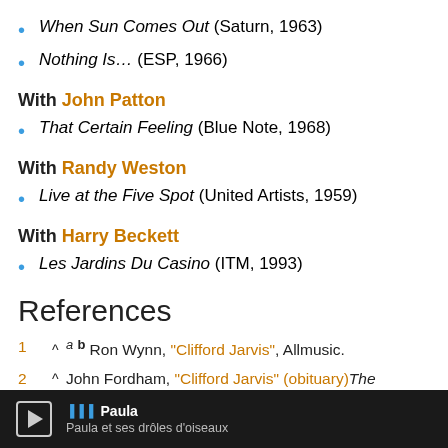When Sun Comes Out (Saturn, 1963)
Nothing Is… (ESP, 1966)
With John Patton
That Certain Feeling (Blue Note, 1968)
With Randy Weston
Live at the Five Spot (United Artists, 1959)
With Harry Beckett
Les Jardins Du Casino (ITM, 1993)
References
1 ^ a b Ron Wynn, "Clifford Jarvis", Allmusic.
2 ^ John Fordham, "Clifford Jarvis" (obituary) The Guardian, December 1, 1999.
3 ^ "Incendiary drummer and great teacher", The
Paula · Paula et ses drôles d'oiseaux